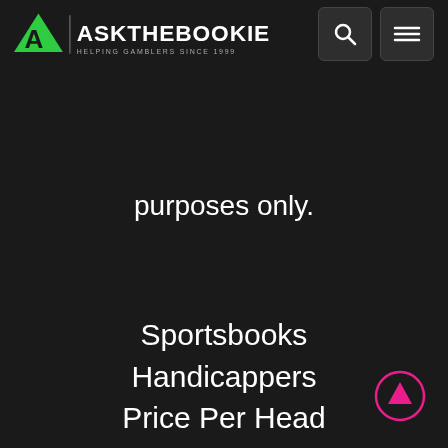AJB ASKTHEBOOKIE HELPING GAMBLERS SINCE 1999
purposes only.
Sportsbooks
Handicappers
Price Per Head
Blog
Contact